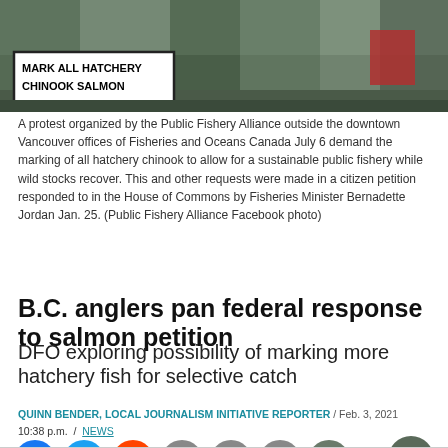[Figure (photo): Protesters at a Public Fishery Alliance protest outside downtown Vancouver offices of Fisheries and Oceans Canada, holding a sign reading MARK ALL HATCHERY CHINOOK SALMON]
A protest organized by the Public Fishery Alliance outside the downtown Vancouver offices of Fisheries and Oceans Canada July 6 demand the marking of all hatchery chinook to allow for a sustainable public fishery while wild stocks recover. This and other requests were made in a citizen petition responded to in the House of Commons by Fisheries Minister Bernadette Jordan Jan. 25. (Public Fishery Alliance Facebook photo)
B.C. anglers pan federal response to salmon petition
DFO exploring possibility of marking more hatchery fish for selective catch
QUINN BENDER, LOCAL JOURNALISM INITIATIVE REPORTER / Feb. 3, 2021
10:38 p.m. / NEWS